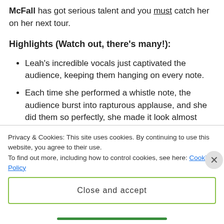McFall has got serious talent and you must catch her on her next tour.
Highlights (Watch out, there’s many!):
Leah’s incredible vocals just captivated the audience, keeping them hanging on every note.
Each time she performed a whistle note, the audience burst into rapturous applause, and she did them so perfectly, she made it look almost easy.
Her between-song banter was so on point and
Privacy & Cookies: This site uses cookies. By continuing to use this website, you agree to their use.
To find out more, including how to control cookies, see here: Cookie Policy
Close and accept